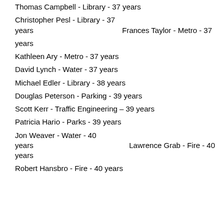Thomas Campbell - Library - 37 years
Christopher Pesl - Library - 37 years
Frances Taylor - Metro - 37 years
Kathleen Ary - Metro - 37 years
David Lynch - Water - 37 years
Michael Edler - Library - 38 years
Douglas Peterson - Parking - 39 years
Scott Kerr - Traffic Engineering – 39 years
Patricia Hario - Parks - 39 years
Jon Weaver - Water - 40 years
Lawrence Grab - Fire - 40 years
Robert Hansbro - Fire - 40 years